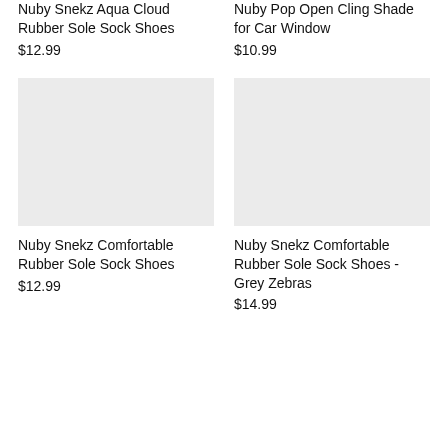Nuby Snekz Aqua Cloud Rubber Sole Sock Shoes
$12.99
Nuby Pop Open Cling Shade for Car Window
$10.99
[Figure (photo): Product image placeholder - light grey rectangle]
Nuby Snekz Comfortable Rubber Sole Sock Shoes
$12.99
[Figure (photo): Product image placeholder - light grey rectangle]
Nuby Snekz Comfortable Rubber Sole Sock Shoes - Grey Zebras
$14.99